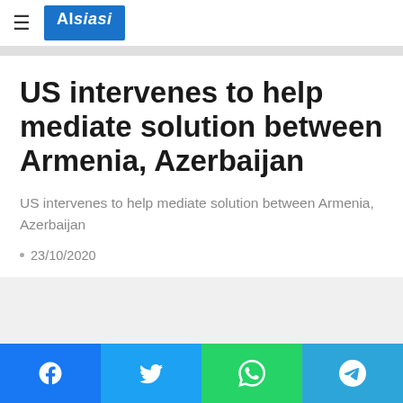Alsiasi
US intervenes to help mediate solution between Armenia, Azerbaijan
US intervenes to help mediate solution between Armenia, Azerbaijan
23/10/2020
Facebook | Twitter | WhatsApp | Telegram